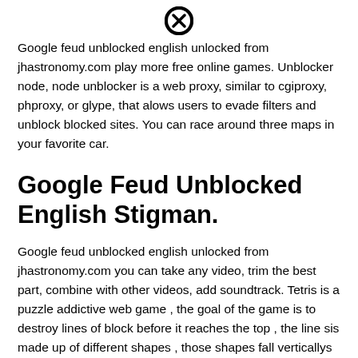[Figure (other): Close/cancel icon (circle with X) at top center]
Google feud unblocked english unlocked from jhastronomy.com play more free online games. Unblocker node, node unblocker is a web proxy, similar to cgiproxy, phproxy, or glype, that alows users to evade filters and unblock blocked sites. You can race around three maps in your favorite car.
Google Feud Unblocked English Stigman.
Google feud unblocked english unlocked from jhastronomy.com you can take any video, trim the best part, combine with other videos, add soundtrack. Tetris is a puzzle addictive web game , the goal of the game is to destroy lines of block before it reaches the top , the line sis made up of different shapes , those shapes fall verticallys down , player
[Figure (other): Close/cancel icon (circle with X) at bottom center]